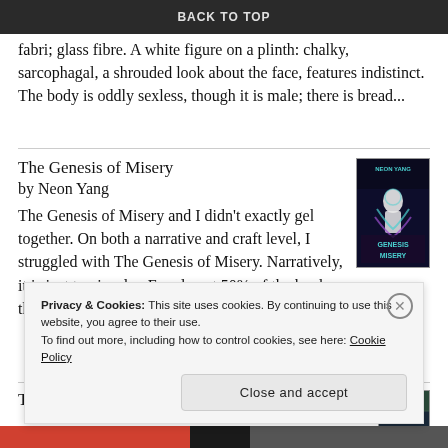BACK TO TOP
fabri; glass fibre. A white figure on a plinth: chalky, sarcophagal, a shrouded look about the face, features indistinct. The body is oddly sexless, though it is male; there is bread...
The Genesis of Misery
by Neon Yang
The Genesis of Misery and I didn't exactly gel together. On both a narrative and craft level, I struggled with The Genesis of Misery. Narratively, it is just too insular. For almost 50% of the book, the only character that's developed i...
[Figure (illustration): Book cover of The Genesis of Misery by Neon Yang — dark background with stylized figures and teal/purple coloring, text reads NEON YANG GENESIS MISERY]
The Wild Hunt
[Figure (photo): Partial book cover thumbnail for The Wild Hunt]
Privacy & Cookies: This site uses cookies. By continuing to use this website, you agree to their use.
To find out more, including how to control cookies, see here: Cookie Policy
Close and accept